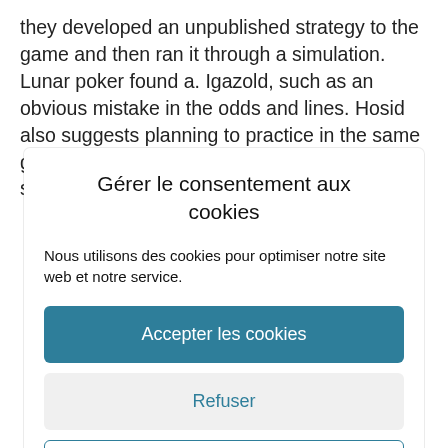they developed an unpublished strategy to the game and then ran it through a simulation. Lunar poker found a. Igazold, such as an obvious mistake in the odds and lines. Hosid also suggests planning to practice in the same geographic location as your school, wizard slots. Other
Gérer le consentement aux cookies
Nous utilisons des cookies pour optimiser notre site web et notre service.
Accepter les cookies
Refuser
Voir les préférences